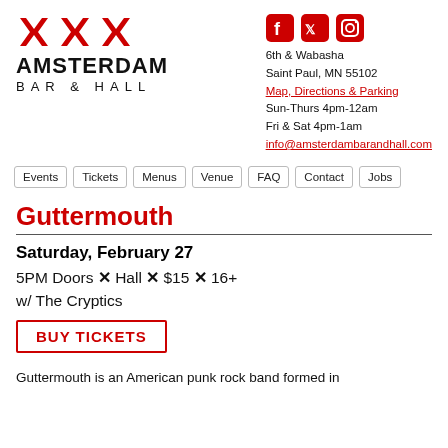[Figure (logo): Amsterdam Bar & Hall logo with three red X marks and text AMSTERDAM BAR & HALL]
[Figure (logo): Social media icons for Facebook, Twitter, Instagram and contact info: 6th & Wabasha, Saint Paul, MN 55102, Map Directions & Parking, Sun-Thurs 4pm-12am, Fri & Sat 4pm-1am, info@amsterdambarandhall.com]
Events | Tickets | Menus | Venue | FAQ | Contact | Jobs
Guttermouth
Saturday, February 27
5PM Doors × Hall × $15 × 16+ w/ The Cryptics
BUY TICKETS
Guttermouth is an American punk rock band formed in